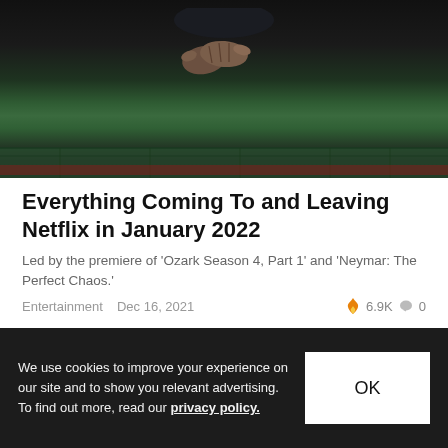[Figure (photo): Dark photo of a person's clasped hands resting on a green casino table]
Everything Coming To and Leaving Netflix in January 2022
Led by the premiere of 'Ozark Season 4, Part 1' and 'Neymar: The Perfect Chaos.'
Entertainment   Dec 16, 2021   🔥 6.9K   💬 0
[Figure (photo): Dark image showing two people against a black background]
We use cookies to improve your experience on our site and to show you relevant advertising. To find out more, read our privacy policy.